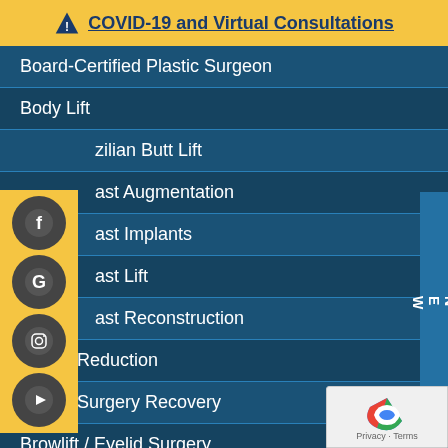COVID-19 and Virtual Consultations
Board-Certified Plastic Surgeon
Body Lift
Brazilian Butt Lift
Breast Augmentation
Breast Implants
Breast Lift
Breast Reconstruction
Breast Reduction
Breast Surgery Recovery
Browlift / Eyelid Surgery
Chin Augmentation
Face Procedures
Facelift